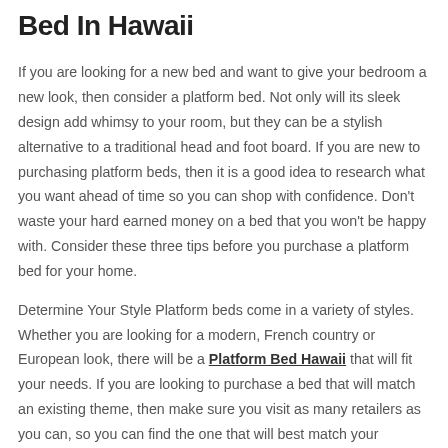Bed In Hawaii
If you are looking for a new bed and want to give your bedroom a new look, then consider a platform bed. Not only will its sleek design add whimsy to your room, but they can be a stylish alternative to a traditional head and foot board. If you are new to purchasing platform beds, then it is a good idea to research what you want ahead of time so you can shop with confidence. Don't waste your hard earned money on a bed that you won't be happy with. Consider these three tips before you purchase a platform bed for your home.
Determine Your Style Platform beds come in a variety of styles. Whether you are looking for a modern, French country or European look, there will be a Platform Bed Hawaii that will fit your needs. If you are looking to purchase a bed that will match an existing theme, then make sure you visit as many retailers as you can, so you can find the one that will best match your